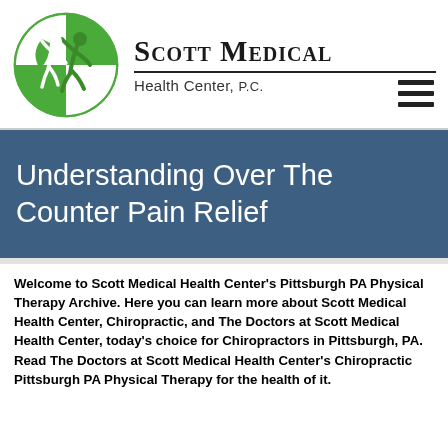[Figure (logo): Scott Medical Health Center logo: green circle with white human figure silhouette in motion, green leaf/check shapes]
Scott Medical Health Center, P.C.
[Figure (other): Hamburger menu icon (three horizontal black lines)]
Understanding Over The Counter Pain Relief
Welcome to Scott Medical Health Center's Pittsburgh PA Physical Therapy Archive. Here you can learn more about Scott Medical Health Center, Chiropractic, and The Doctors at Scott Medical Health Center, today's choice for Chiropractors in Pittsburgh, PA. Read The Doctors at Scott Medical Health Center's Chiropractic Pittsburgh PA Physical Therapy for the health of it.